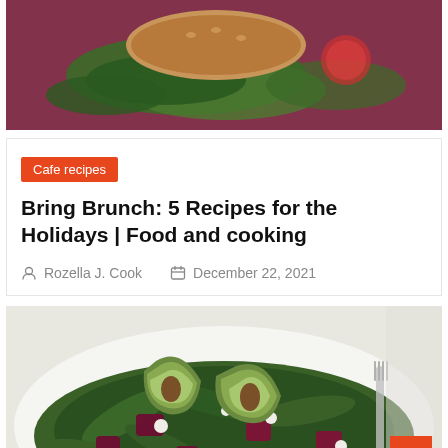[Figure (photo): Food photo showing a sandwich or burger with lettuce on a dark maroon/red background]
Cafe recipes
Bring Brunch: 5 Recipes for the Holidays | Food and cooking
Rozella J. Cook   December 22, 2021
[Figure (photo): Salad with arugula, beet slices, avocado slices, goat cheese crumbles on a white plate with a fork]